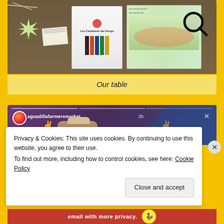[Figure (photo): Photo of a table display with books including 'Los Cazadores del Hongo', a magnifying glass, starburst decoration, and other materials on a brown surface]
Our table
[Figure (screenshot): Instagram story screenshot from aguadillafarmersmarket posted 2h ago, showing a person making peace signs wearing a cap, with a close (X) button]
Privacy & Cookies: This site uses cookies. By continuing to use this website, you agree to their use.
To find out more, including how to control cookies, see here: Cookie Policy
Close and accept
[Figure (screenshot): Bottom email privacy bar with red background and duck logo]